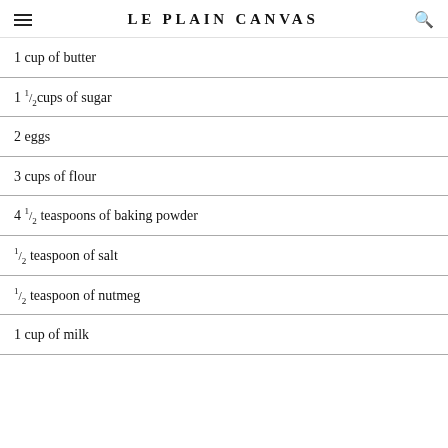LE PLAIN CANVAS
1 cup of butter
1 1/2 cups of sugar
2 eggs
3 cups of flour
4 1/2 teaspoons of baking powder
1/2 teaspoon of salt
1/2 teaspoon of nutmeg
1 cup of milk